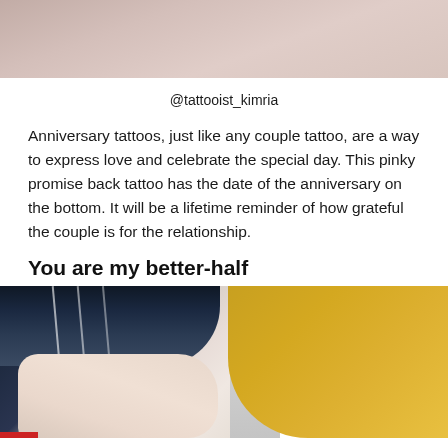[Figure (photo): Close-up photo of skin, top portion of page showing a tattoo area]
@tattooist_kimria
Anniversary tattoos, just like any couple tattoo, are a way to express love and celebrate the special day. This pinky promise back tattoo has the date of the anniversary on the bottom. It will be a lifetime reminder of how grateful the couple is for the relationship.
You are my better-half
[Figure (photo): Photo showing two wrists/arms side by side - one wearing a dark navy striped sleeve on the left, and one wearing a mustard/yellow sleeve on the right, against a gray background]